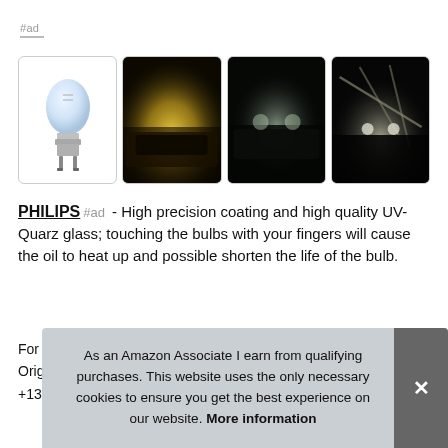#ad
[Figure (photo): Four product images in a row: a Philips H7 halogen bulb on white background, a car with bright yellow headlights at night, a dark car with headlights on a road at night, and a car headlight illuminating a structure at night]
PHILIPS #ad - High precision coating and high quality UV-Quarz glass; touching the bulbs with your fingers will cause the oil to heat up and possible shorten the life of the bulb.
For
Orig
+13
As an Amazon Associate I earn from qualifying purchases. This website uses the only necessary cookies to ensure you get the best experience on our website. More information